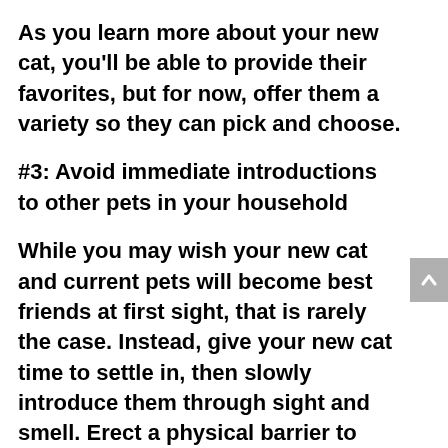As you learn more about your new cat, you'll be able to provide their favorites, but for now, offer them a variety so they can pick and choose.
#3: Avoid immediate introductions to other pets in your household
While you may wish your new cat and current pets will become best friends at first sight, that is rarely the case. Instead, give your new cat time to settle in, then slowly introduce them through sight and smell. Erect a physical barrier to allow your pets to see each other, and swap bedding so your pets can learn each other's scent. Whe...